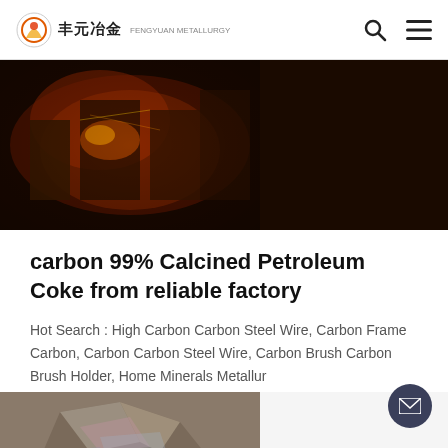丰元冶金
[Figure (photo): Industrial factory scene with orange-red glowing furnace and machinery in dark environment]
carbon 99% Calcined Petroleum Coke from reliable factory
Hot Search : High Carbon Carbon Steel Wire, Carbon Frame Carbon, Carbon Carbon Steel Wire, Carbon Brush Carbon Brush Holder, Home Minerals Metallur
[Figure (photo): Metallic mineral rock specimen with iridescent surface, gray and brown tones]